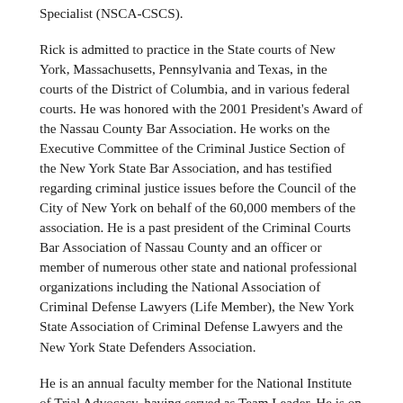Specialist (NSCA-CSCS).
Rick is admitted to practice in the State courts of New York, Massachusetts, Pennsylvania and Texas, in the courts of the District of Columbia, and in various federal courts. He was honored with the 2001 President's Award of the Nassau County Bar Association. He works on the Executive Committee of the Criminal Justice Section of the New York State Bar Association, and has testified regarding criminal justice issues before the Council of the City of New York on behalf of the 60,000 members of the association. He is a past president of the Criminal Courts Bar Association of Nassau County and an officer or member of numerous other state and national professional organizations including the National Association of Criminal Defense Lawyers (Life Member), the New York State Association of Criminal Defense Lawyers and the New York State Defenders Association.
He is an annual faculty member for the National Institute of Trial Advocacy, having served as Team Leader. He is on the Adjunct Faculty of Hofstra University Law School. He has appeared as a legal commentator on the nationally televised NewsTalk Television Network, and frequently lectures on trial practice and criminal law issues.